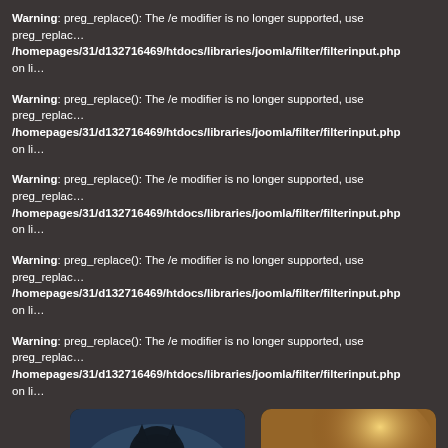Warning: preg_replace(): The /e modifier is no longer supported, use preg_replace_e … /homepages/31/d132716469/htdocs/libraries/joomla/filter/filterinput.php on li…
Warning: preg_replace(): The /e modifier is no longer supported, use preg_replace_e … /homepages/31/d132716469/htdocs/libraries/joomla/filter/filterinput.php on li…
Warning: preg_replace(): The /e modifier is no longer supported, use preg_replace_e … /homepages/31/d132716469/htdocs/libraries/joomla/filter/filterinput.php on li…
Warning: preg_replace(): The /e modifier is no longer supported, use preg_replace_e … /homepages/31/d132716469/htdocs/libraries/joomla/filter/filterinput.php on li…
Warning: preg_replace(): The /e modifier is no longer supported, use preg_replace_e … /homepages/31/d132716469/htdocs/libraries/joomla/filter/filterinput.php on li…
[Figure (screenshot): Book/article cards showing 'La bête du Vivarais', 'Le Hollandais volant', 'Le zombie' with cover images on dark background with a navigation arrow]
La bête du Vivarais
Le Hollandais volant
Le zombie